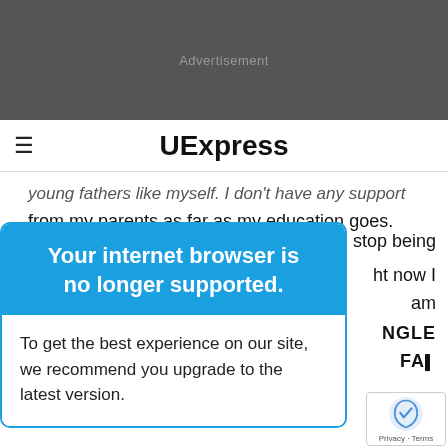[Figure (screenshot): Dark advertisement banner area with 'Advertisement' label in gray text]
≡  UExpress
young fathers like myself. I don't have any support from my parents as far as my education goes. My mom
[Figure (screenshot): Browser upgrade modal popup with blue header reading 'Your internet browser is no longer supported.' and white body text 'To get the best experience on our site, we recommend you upgrade to the latest version.']
stop being
ht now I am
NGLE FATHER